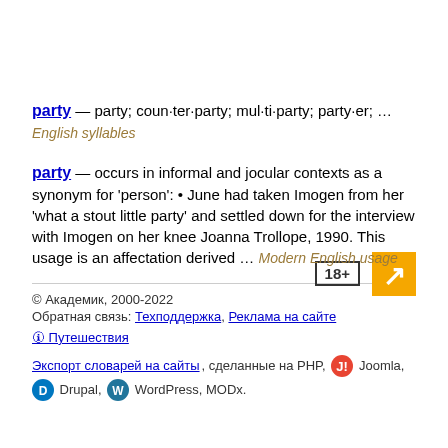party — party; coun·ter·party; mul·ti·party; party·er; … English syllables
party — occurs in informal and jocular contexts as a synonym for 'person': • June had taken Imogen from her 'what a stout little party' and settled down for the interview with Imogen on her knee Joanna Trollope, 1990. This usage is an affectation derived … Modern English usage
© Академик, 2000-2022
Обратная связь: Техподдержка, Реклама на сайте
🛈 Путешествия
Экспорт словарей на сайты, сделанные на PHP, Joomla, Drupal, WordPress, MODx.